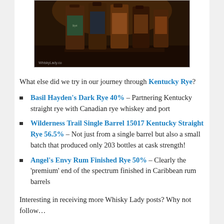[Figure (photo): Photo of several whisky/bourbon bottles on a dark surface, with a WhiskyLady.co watermark in the lower left corner.]
What else did we try in our journey through Kentucky Rye?
Basil Hayden's Dark Rye 40% – Partnering Kentucky straight rye with Canadian rye whiskey and port
Wilderness Trail Single Barrel 15017 Kentucky Straight Rye 56.5% – Not just from a single barrel but also a small batch that produced only 203 bottles at cask strength!
Angel's Envy Rum Finished Rye 50% – Clearly the 'premium' end of the spectrum finished in Caribbean rum barrels
Interesting in receiving more Whisky Lady posts? Why not follow…